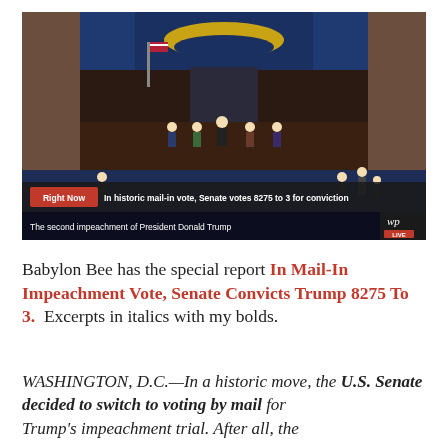[Figure (screenshot): Screenshot of Washington Post live video showing US Senate chamber during impeachment proceedings. Lower-third chyron reads 'Right Now | In historic mail-in vote, Senate votes 8275 to 3 for conviction'. Below that: 'The second impeachment of President Donald Trump'. WP LIVE logo in bottom right.]
Babylon Bee has the special report In Mail-In Impeachment Vote, Senate Convicts Trump 8275 To 3. Excerpts in italics with my bolds.
WASHINGTON, D.C.—In a historic move, the U.S. Senate decided to switch to voting by mail for Trump's impeachment trial. After all, the